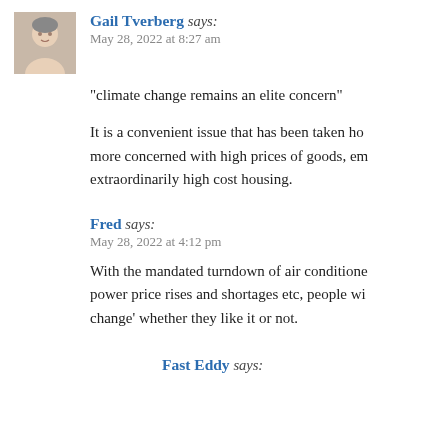Gail Tverberg says:
May 28, 2022 at 8:27 am
“climate change remains an elite concern”
It is a convenient issue that has been taken ho... more concerned with high prices of goods, em... extraordinarily high cost housing.
Fred says:
May 28, 2022 at 4:12 pm
With the mandated turndown of air conditione... power price rises and shortages etc, people wi... change' whether they like it or not.
Fast Eddy says: